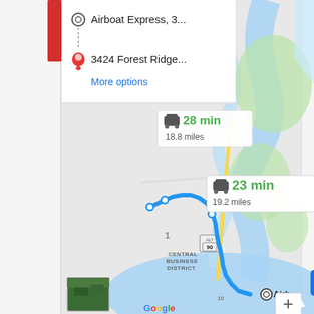[Figure (screenshot): Google Maps screenshot showing driving directions between two locations in the Biloxi/Gulfport area. Two route options shown: 28 min / 18.8 miles and 23 min / 19.2 miles. A blue route is drawn on the map through Central Business District. Origin labeled 'Airboat Express, 3...' and destination '3424 Forest Ridge...' with 'More options' link. Zoom controls and satellite thumbnail visible.]